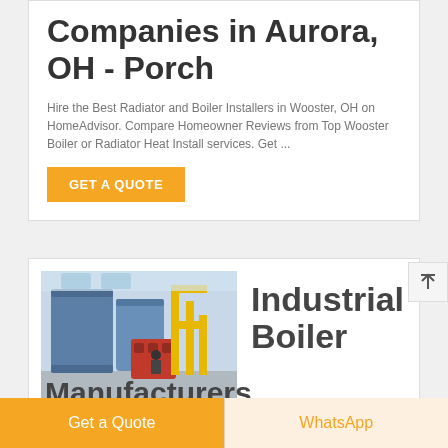Companies in Aurora, OH - Porch
Hire the Best Radiator and Boiler Installers in Wooster, OH on HomeAdvisor. Compare Homeowner Reviews from Top Wooster Boiler or Radiator Heat Install services. Get ...
GET A QUOTE
[Figure (photo): Industrial boiler equipment in a factory setting with blue tanks and yellow piping]
Industrial Boiler
Manufacturers
Get a Quote
WhatsApp